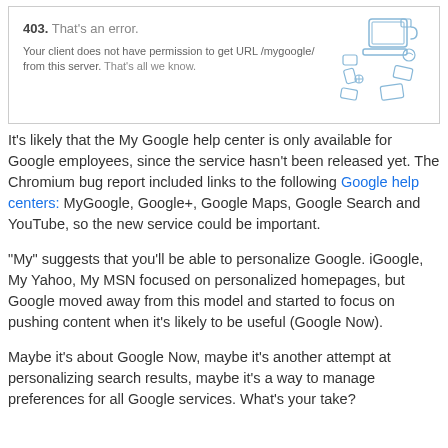[Figure (screenshot): Screenshot of a 403 error page. Text reads: '403. That's an error. Your client does not have permission to get URL /mygoogle/ from this server. That's all we know.' With a blue line-art illustration of broken/scattered objects on the right.]
It's likely that the My Google help center is only available for Google employees, since the service hasn't been released yet. The Chromium bug report included links to the following Google help centers: MyGoogle, Google+, Google Maps, Google Search and YouTube, so the new service could be important.
"My" suggests that you'll be able to personalize Google. iGoogle, My Yahoo, My MSN focused on personalized homepages, but Google moved away from this model and started to focus on pushing content when it's likely to be useful (Google Now).
Maybe it's about Google Now, maybe it's another attempt at personalizing search results, maybe it's a way to manage preferences for all Google services. What's your take?